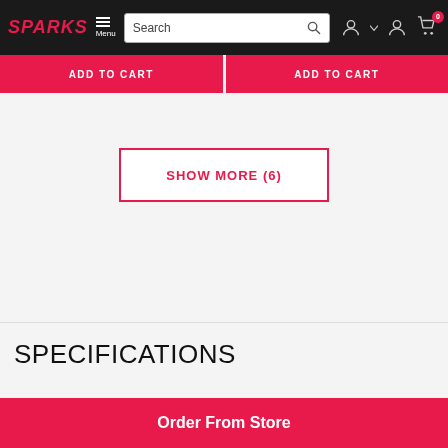SPARKS — Menu | Search | Account | Cart (0)
ADD TO CART | ADD TO CART
SHOW MORE (6)
SPECIFICATIONS
Order From Store